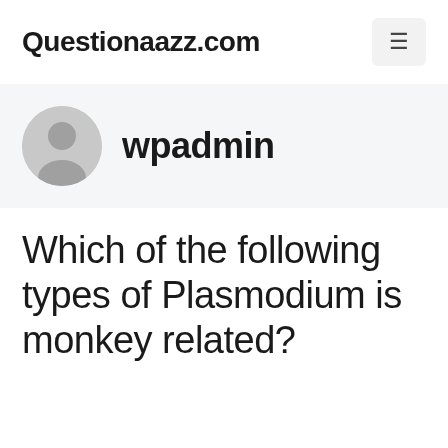Questionaazz.com
wpadmin
Which of the following types of Plasmodium is monkey related?